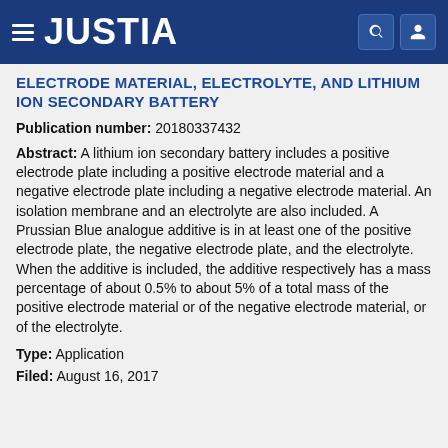JUSTIA
ELECTRODE MATERIAL, ELECTROLYTE, AND LITHIUM ION SECONDARY BATTERY
Publication number: 20180337432
Abstract: A lithium ion secondary battery includes a positive electrode plate including a positive electrode material and a negative electrode plate including a negative electrode material. An isolation membrane and an electrolyte are also included. A Prussian Blue analogue additive is in at least one of the positive electrode plate, the negative electrode plate, and the electrolyte. When the additive is included, the additive respectively has a mass percentage of about 0.5% to about 5% of a total mass of the positive electrode material or of the negative electrode material, or of the electrolyte.
Type: Application
Filed: August 16, 2017